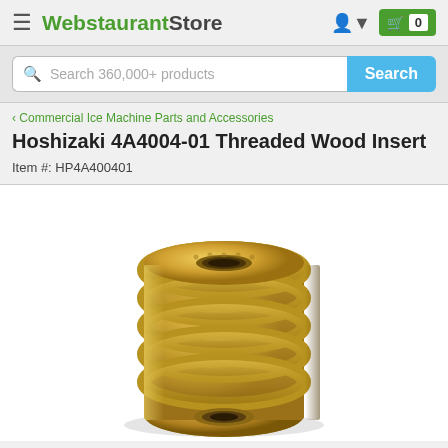WebstaurantStore
Search 360,000+ products
< Commercial Ice Machine Parts and Accessories
Hoshizaki 4A4004-01 Threaded Wood Insert
Item #: HP4A400401
[Figure (photo): Brass threaded wood insert (Hoshizaki 4A4004-01) — a small cylindrical brass fitting with external helical threads spiraling along its body, viewed from a slight angle showing the threaded exterior and hollow center bore, photographed on a white background.]